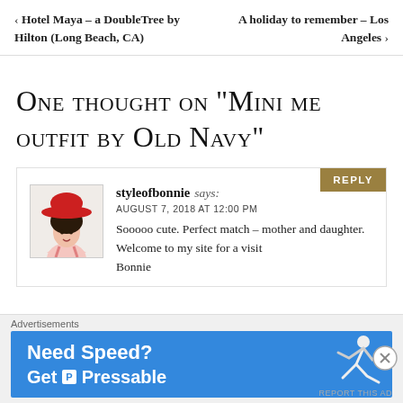‹ Hotel Maya – a DoubleTree by Hilton (Long Beach, CA)    A holiday to remember – › Los Angeles
One thought on “Mini me outfit by Old Navy”
styleofbonnie says:
AUGUST 7, 2018 AT 12:00 PM
Sooooo cute. Perfect match – mother and daughter. Welcome to my site for a visit
Bonnie
[Figure (photo): Avatar photo of a woman wearing a red wide-brim hat]
Advertisements
Need Speed? Get Pressable